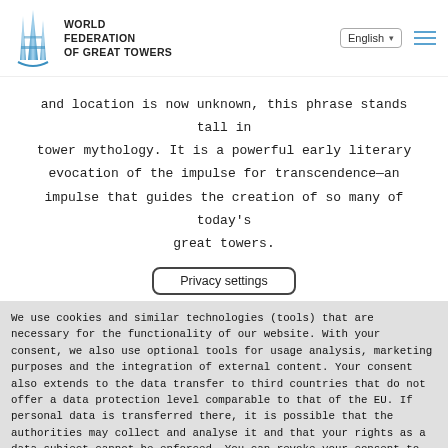WORLD FEDERATION OF GREAT TOWERS — English
and location is now unknown, this phrase stands tall in tower mythology. It is a powerful early literary evocation of the impulse for transcendence—an impulse that guides the creation of so many of today's great towers.
Privacy settings
We use cookies and similar technologies (tools) that are necessary for the functionality of our website. With your consent, we also use optional tools for usage analysis, marketing purposes and the integration of external content. Your consent also extends to the data transfer to third countries that do not offer a data protection level comparable to that of the EU. If personal data is transferred there, it is possible that the authorities may collect and analyse it and that your rights as a data subject cannot be enforced. You can revoke your consent to data processing and transmission at any time and you can deactivate tools. Further details can be found in our Privacy Policy.